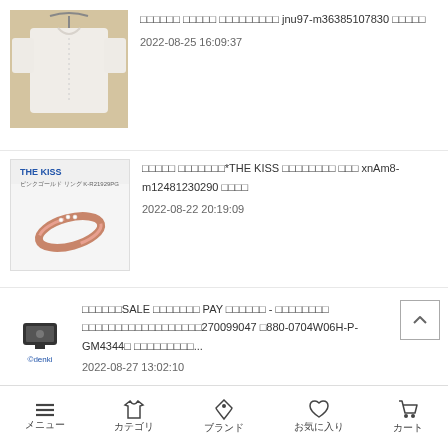[Figure (photo): White shirt/tunic hanging on a hanger against a wall]
□□□□□□ □□□□□ □□□□□□□□□ jnu97-m36385107830 □□□□□
2022-08-25 16:09:37
[Figure (photo): THE KISS brand ring product image - pink gold ring with small diamonds, ピンクゴールド リング K-R21929PG]
□□□□□ □□□□□□□*THE KISS □□□□□□□□ □□□ xnAm8-m12481230290 □□□□
2022-08-22 20:19:09
[Figure (logo): Odenki brand logo with small device image]
□□□□□□SALE □□□□□□□ PAY □□□□□□ - □□□□□□□□ □□□□□□□□□□□□□□□□□□270099047 □880-0704W06H-P-GM4344□ □□□□□□□□□...
2022-08-27 13:02:10
メニュー　カテゴリ　ブランド　お気に入り　カート